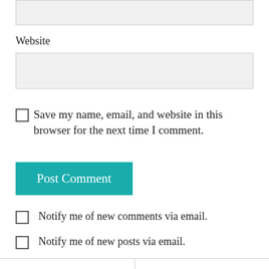Website
Save my name, email, and website in this browser for the next time I comment.
Post Comment
Notify me of new comments via email.
Notify me of new posts via email.